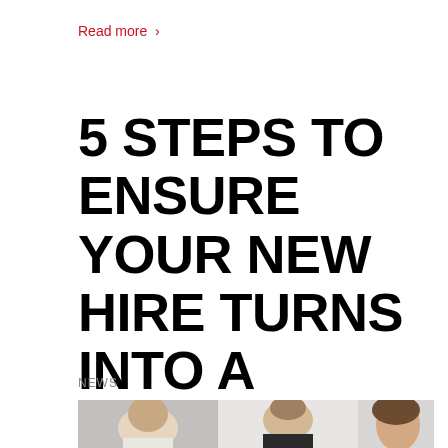Read more >
5 STEPS TO ENSURE YOUR NEW HIRE TURNS INTO A ROCKSTAR
NEWS
[Figure (photo): Three people in an office meeting setting, smiling and conversing. A man with a beard on the left, an older man with grey hair in the center, and a woman with curly hair on the right.]